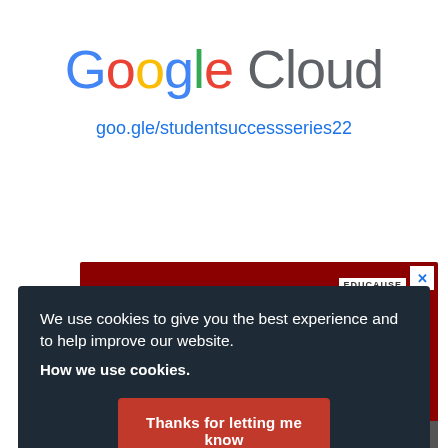[Figure (logo): Google Cloud logo with multicolor Google text and gray Cloud text]
goo.gle/studentsuccessseries22
[Figure (screenshot): Partial view of a dark red advertisement banner with a close X button, EDUCAUSE branding, and a DISCOVER MEMBERSHIP bar at the bottom]
We use cookies to give you the best experience and to help improve our website.
How we use cookies.
Thanks for letting me know